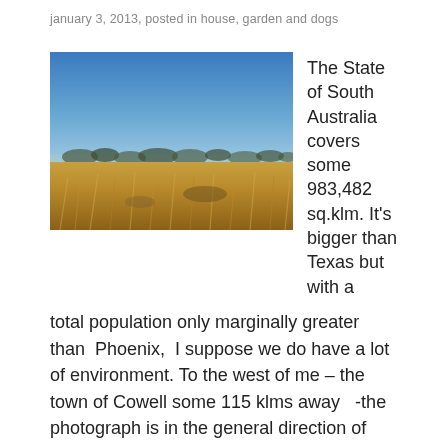january 3, 2013, posted in house, garden and dogs
[Figure (photo): Wide open flat landscape of South Australia with golden dry grassland in the foreground, sparse scrubby trees on the horizon line, and a clear deep blue sky above.]
The State of South Australia covers some 983,482 sq.klm. It's bigger than Texas but with a total population only marginally greater than  Phoenix,  I suppose we do have a lot of environment. To the west of me – the town of Cowell some 115 klms away   -the photograph is in the general direction of Cowell and there is nothing in between except the general